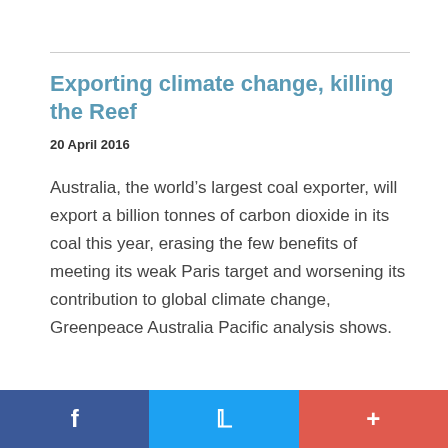Exporting climate change, killing the Reef
20 April 2016
Australia, the world’s largest coal exporter, will export a billion tonnes of carbon dioxide in its coal this year, erasing the few benefits of meeting its weak Paris target and worsening its contribution to global climate change, Greenpeace Australia Pacific analysis shows.